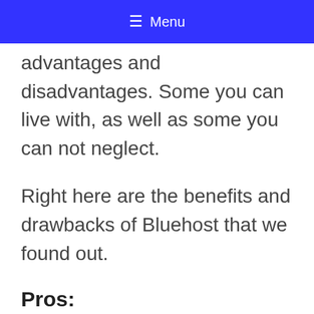≡ Menu
advantages and disadvantages. Some you can live with, as well as some you can not neglect.
Right here are the benefits and drawbacks of Bluehost that we found out.
Pros: